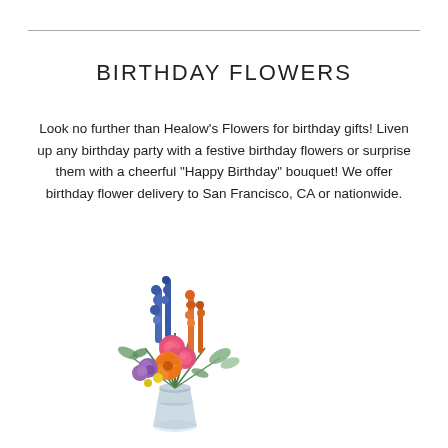BIRTHDAY FLOWERS
Look no further than Healow's Flowers for birthday gifts! Liven up any birthday party with a festive birthday flowers or surprise them with a cheerful "Happy Birthday" bouquet! We offer birthday flower delivery to San Francisco, CA or nationwide.
[Figure (photo): A colorful birthday flower bouquet in a glass vase featuring pink roses, orange lilies, blue delphiniums, purple flowers, orange snapdragons, and green foliage.]